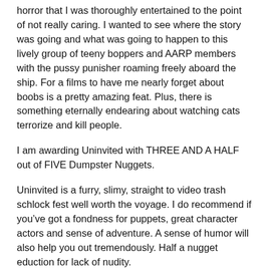horror that I was thoroughly entertained to the point of not really caring. I wanted to see where the story was going and what was going to happen to this lively group of teeny boppers and AARP members with the pussy punisher roaming freely aboard the ship. For a films to have me nearly forget about boobs is a pretty amazing feat. Plus, there is something eternally endearing about watching cats terrorize and kill people.
I am awarding Uninvited with THREE AND A HALF out of FIVE Dumpster Nuggets.
Uninvited is a furry, slimy, straight to video trash schlock fest well worth the voyage. I do recommend if you’ve got a fondness for puppets, great character actors and sense of adventure. A sense of humor will also help you out tremendously. Half a nugget eduction for lack of nudity.